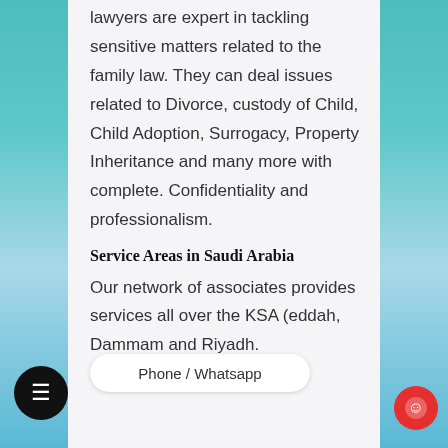lawyers are expert in tackling sensitive matters related to the family law. They can deal issues related to Divorce, custody of Child, Child Adoption, Surrogacy, Property Inheritance and many more with complete. Confidentiality and professionalism.
Service Areas in Saudi Arabia
Our network of associates provides services all over the KSA (... eddah, Dammam and Riyadh.